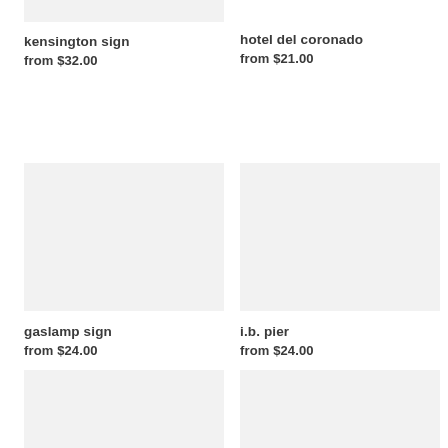[Figure (photo): Product image placeholder for kensington sign (top cropped)]
kensington sign
from $32.00
[Figure (photo): Product image placeholder for hotel del coronado]
hotel del coronado
from $21.00
[Figure (photo): Product image placeholder for gaslamp sign]
gaslamp sign
from $24.00
[Figure (photo): Product image placeholder for i.b. pier]
i.b. pier
from $24.00
[Figure (photo): Product image placeholder bottom left]
[Figure (photo): Product image placeholder bottom right]